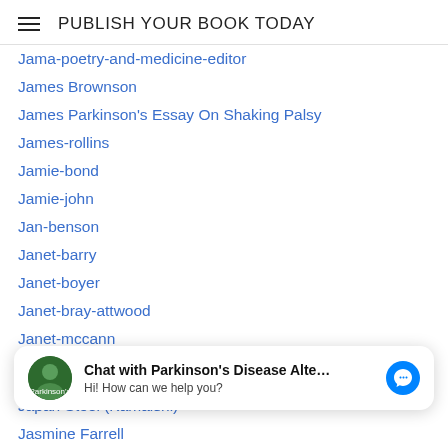PUBLISH YOUR BOOK TODAY
Jama-poetry-and-medicine-editor
James Brownson
James Parkinson's Essay On Shaking Palsy
James-rollins
Jamie-bond
Jamie-john
Jan-benson
Janet-barry
Janet-boyer
Janet-bray-attwood
Janet-mccann
Janet-p-caldwell
Japan (Asia)
Japanese-brazil
Japan Steel (Kamaishi)
Jasmine Farrell